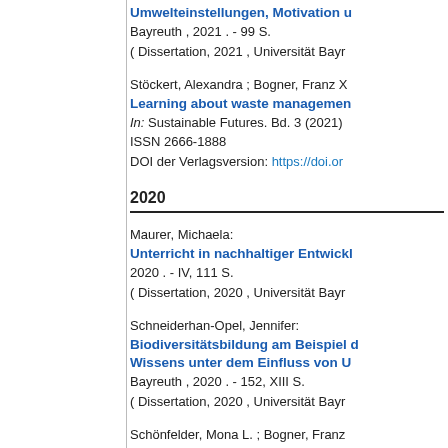Umwelteinstellungen, Motivation u...
Bayreuth , 2021 . - 99 S.
( Dissertation, 2021 , Universität Bayr...
Stöckert, Alexandra ; Bogner, Franz X...
Learning about waste managemen...
In: Sustainable Futures. Bd. 3 (2021)
ISSN 2666-1888
DOI der Verlagsversion: https://doi.or...
2020
Maurer, Michaela:
Unterricht in nachhaltiger Entwickl...
2020 . - IV, 111 S.
( Dissertation, 2020 , Universität Bayr...
Schneiderhan-Opel, Jennifer:
Biodiversitätsbildung am Beispiel ... Wissens unter dem Einfluss von U...
Bayreuth , 2020 . - 152, XIII S.
( Dissertation, 2020 , Universität Bayr...
Schönfelder, Mona L. ; Bogner, Franz...
Between Science Education and E...
In: Sustainability. Bd. 12 (2020) Heft 5...
ISSN 2071-1050